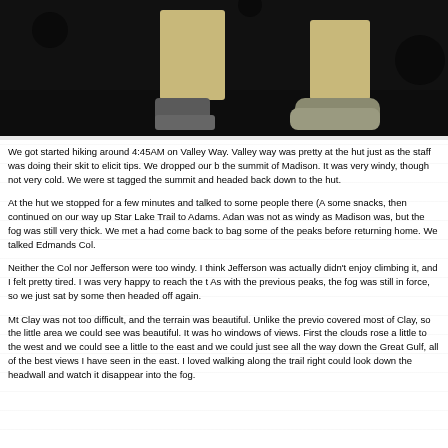[Figure (photo): A dark nighttime photo showing two people's legs and feet/shoes, one person wearing khaki shorts and hiking shoes, the other wearing sneakers, standing on dark ground.]
We got started hiking around 4:45AM on Valley Way. Valley way was pretty at the hut just as the staff was doing their skit to elicit tips. We dropped our b the summit of Madison. It was very windy, though not very cold. We were st tagged the summit and headed back down to the hut.
At the hut we stopped for a few minutes and talked to some people there (A some snacks, then continued on our way up Star Lake Trail to Adams. Ada was not as windy as Madison was, but the fog was still very thick. We met a had come back to bag some of the peaks before returning home. We talked Edmands Col.
Neither the Col nor Jefferson were too windy. I think Jefferson was actually didn't enjoy climbing it, and I felt pretty tired. I was very happy to reach the t As with the previous peaks, the fog was still in force, so we just sat by some then headed off again.
Mt Clay was not too difficult, and the terrain was beautiful. Unlike the previo covered most of Clay, so the little area we could see was beautiful. It was ho windows of views. First the clouds rose a little to the west and we could see a little to the east and we could just see all the way down the Great Gulf, all of the best views I have seen in the east. I loved walking along the trail right could look down the headwall and watch it disappear into the fog.